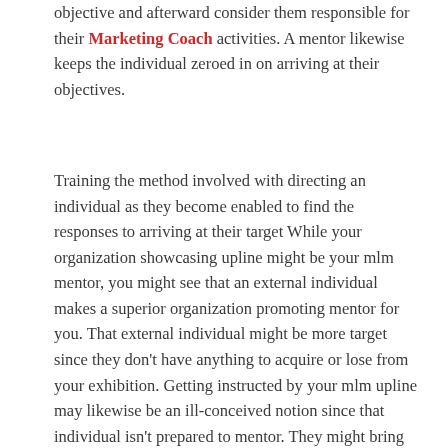objective and afterward consider them responsible for their Marketing Coach activities. A mentor likewise keeps the individual zeroed in on arriving at their objectives.
Training the method involved with directing an individual as they become enabled to find the responses to arriving at their target While your organization showcasing upline might be your mlm mentor, you might see that an external individual makes a superior organization promoting mentor for you. That external individual might be more target since they don't have anything to acquire or lose from your exhibition. Getting instructed by your mlm upline may likewise be an ill-conceived notion since that individual isn't prepared to mentor. They might bring points of view into your instructing experience that may in reality sluggish your advancement and hurt your business relationship.